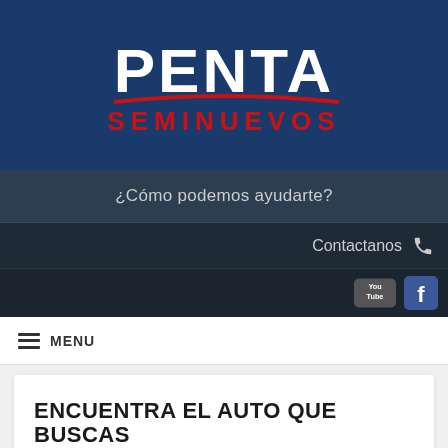[Figure (logo): Penta Seminuevos logo on dark blue background. White bold PENTA text with a red swoosh underline, and red SEMINUEVOS text below.]
¿Cómo podemos ayudarte?
Contactanos
[Figure (other): YouTube and Facebook social icons in top-right area on dark background]
MENU
ENCUENTRA EL AUTO QUE BUSCAS
2013                                    2022